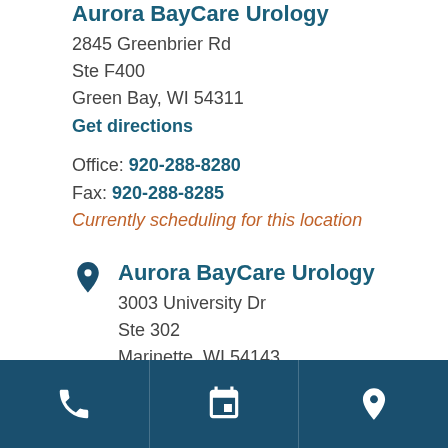Aurora BayCare Urology
2845 Greenbrier Rd
Ste F400
Green Bay, WI 54311
Get directions
Office: 920-288-8280
Fax: 920-288-8285
Currently scheduling for this location
Aurora BayCare Urology
3003 University Dr
Ste 302
Marinette, WI 54143
Get directions
Office: 715-735-9494
Fax: 715-735-9518